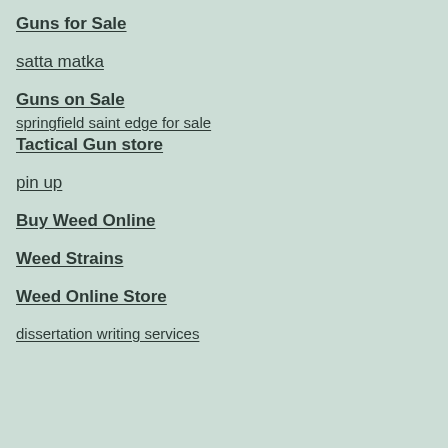Guns for Sale
satta matka
Guns on Sale
springfield saint edge for sale
Tactical Gun store
pin up
Buy Weed Online
Weed Strains
Weed Online Store
dissertation writing services